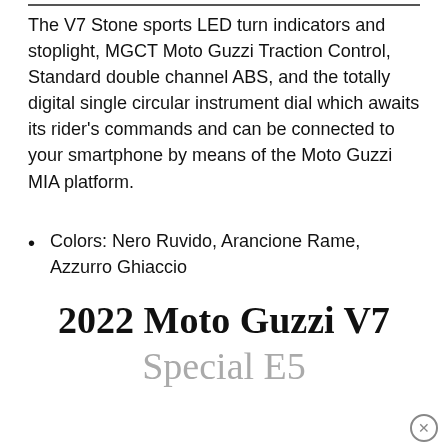The V7 Stone sports LED turn indicators and stoplight, MGCT Moto Guzzi Traction Control, Standard double channel ABS, and the totally digital single circular instrument dial which awaits its rider's commands and can be connected to your smartphone by means of the Moto Guzzi MIA platform.
Colors: Nero Ruvido, Arancione Rame, Azzurro Ghiaccio
MSRP: $8,999 USD / $10,990 CDN
Info @MotoGuzzi
Specs, Photos, and Features
2022 Moto Guzzi V7 Special E5